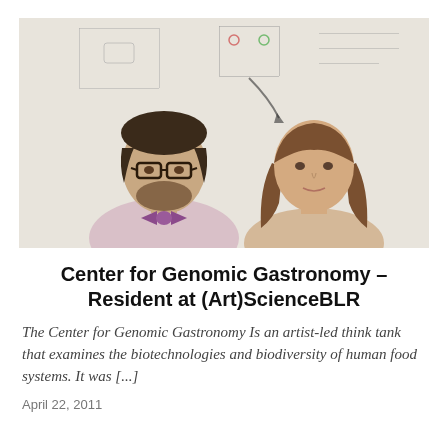[Figure (photo): Two people standing in front of a whiteboard with diagrams. On the left is a man with glasses and a purple bow tie wearing a light pink shirt. On the right is a woman with long brown hair.]
Center for Genomic Gastronomy – Resident at (Art)ScienceBLR
The Center for Genomic Gastronomy Is an artist-led think tank that examines the biotechnologies and biodiversity of human food systems. It was [...]
April 22, 2011